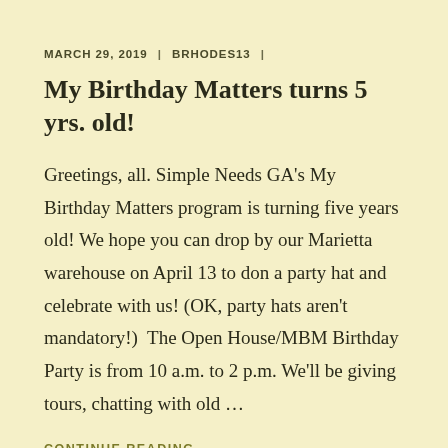MARCH 29, 2019 | BRHODES13 |
My Birthday Matters turns 5 yrs. old!
Greetings, all. Simple Needs GA's My Birthday Matters program is turning five years old! We hope you can drop by our Marietta warehouse on April 13 to don a party hat and celebrate with us! (OK, party hats aren't mandatory!)  The Open House/MBM Birthday Party is from 10 a.m. to 2 p.m. We'll be giving tours, chatting with old …
CONTINUE READING